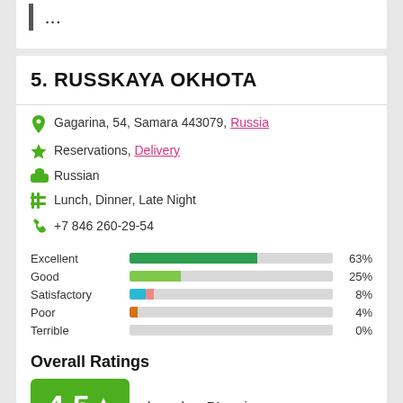...
5. RUSSKAYA OKHOTA
Gagarina, 54, Samara 443079, Russia
Reservations, Delivery
Russian
Lunch, Dinner, Late Night
+7 846 260-29-54
[Figure (bar-chart): Review ratings]
Overall Ratings
4.5 ★  based on 71 reviews